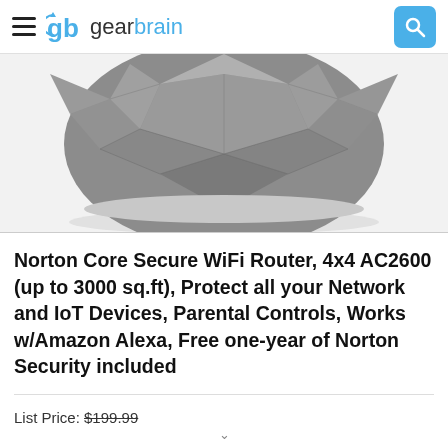gearbrain
[Figure (photo): Bottom portion of a Norton Core secure WiFi router — a dark grey geodesic sphere-shaped device sitting on a white surface, photographed from below against a white background.]
Norton Core Secure WiFi Router, 4x4 AC2600 (up to 3000 sq.ft), Protect all your Network and IoT Devices, Parental Controls, Works w/Amazon Alexa, Free one-year of Norton Security included
List Price: $199.99